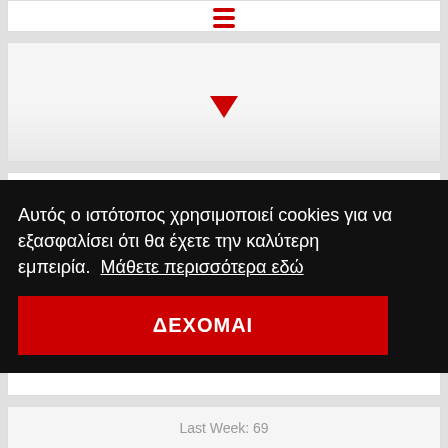[Figure (other): Red downward arrow indicating chart movement down]
69
Last Week: 67
Dino MFU & Slick Beats feat. Justin Taylor
Little Girl Eyes
Last Week: 69
Αυτός ο ιστότοπος χρησιμοποιεί cookies για να εξασφαλίσει ότι θα έχετε την καλύτερη εμπειρία.  Μάθετε περισσότερα εδώ
ΔΕΧΟΜΑΙ